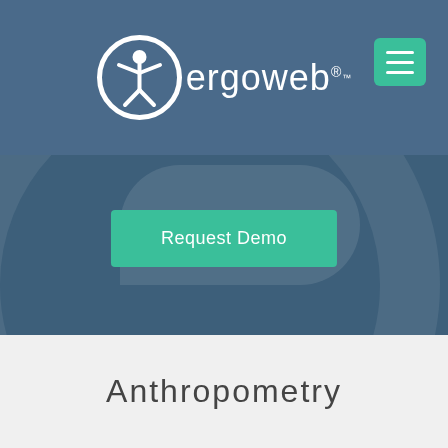[Figure (logo): Ergoweb logo: white circle with human figure icon, text 'ergoweb' with registered trademark symbol]
[Figure (other): Hamburger menu button (three horizontal lines) on teal/green background, top right corner]
Request Demo
[Figure (illustration): Dark blue-gray hero background with large semi-transparent Ergoweb 'e' watermark shape]
Anthropometry